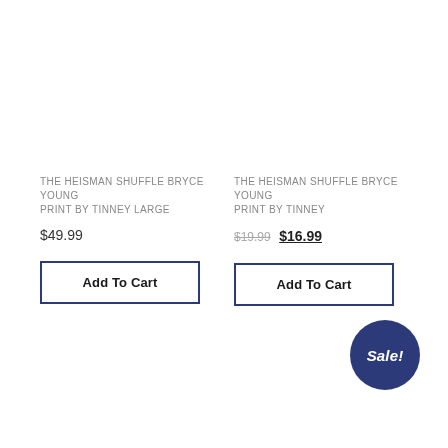THE HEISMAN SHUFFLE BRYCE YOUNG PRINT BY TINNEY LARGE
$49.99
Add To Cart
THE HEISMAN SHUFFLE BRYCE YOUNG PRINT BY TINNEY
$19.99 $16.99
Add To Cart
Sale!